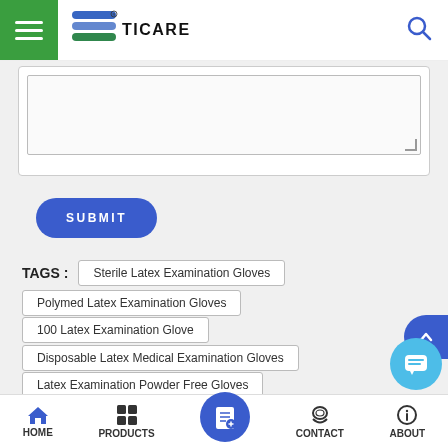[Figure (logo): TICARE logo with blue wave flag icon and green menu icon]
[Figure (screenshot): Text area input with resize handle]
SUBMIT
TAGS :
Sterile Latex Examination Gloves
Polymed Latex Examination Gloves
100 Latex Examination Glove
Disposable Latex Medical Examination Gloves
Latex Examination Powder Free Gloves
HOME  PRODUCTS  CONTACT  ABOUT